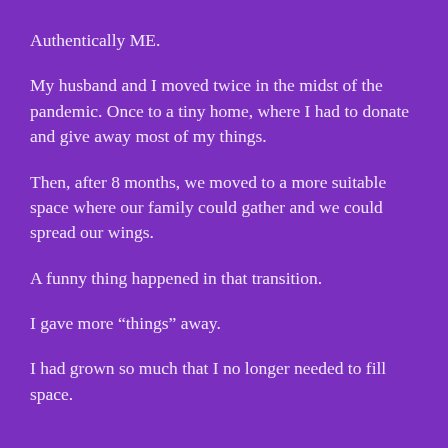Authentically ME.
My husband and I moved twice in the midst of the pandemic. Once to a tiny home, where I had to donate and give away most of my things.
Then, after 8 months, we moved to a more suitable space where our family could gather and we could spread our wings.
A funny thing happened in that transition.
I gave more “things” away.
I had grown so much that I no longer needed to fill space.